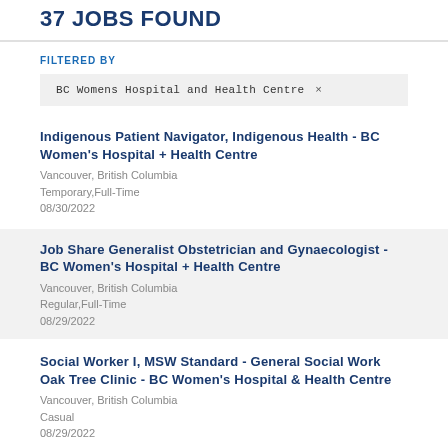37 JOBS FOUND
FILTERED BY
BC Womens Hospital and Health Centre ×
Indigenous Patient Navigator, Indigenous Health - BC Women's Hospital + Health Centre
Vancouver, British Columbia
Temporary,Full-Time
08/30/2022
Job Share Generalist Obstetrician and Gynaecologist - BC Women's Hospital + Health Centre
Vancouver, British Columbia
Regular,Full-Time
08/29/2022
Social Worker I, MSW Standard - General Social Work Oak Tree Clinic - BC Women's Hospital & Health Centre
Vancouver, British Columbia
Casual
08/29/2022